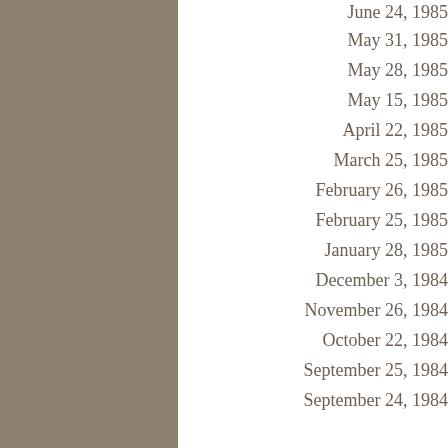June 24, 1985
May 31, 1985
May 28, 1985
May 15, 1985
April 22, 1985
March 25, 1985
February 26, 1985
February 25, 1985
January 28, 1985
December 3, 1984
November 26, 1984
October 22, 1984
September 25, 1984
September 24, 1984